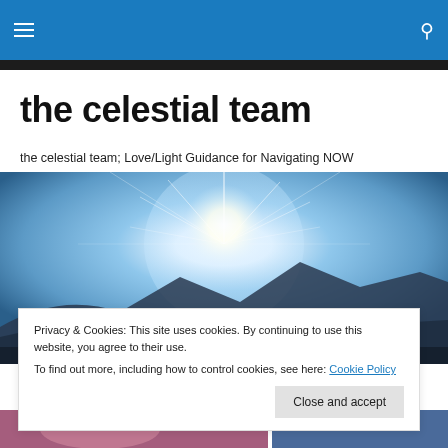Navigation bar with hamburger menu and search icon
the celestial team
the celestial team; Love/Light Guidance for Navigating NOW
[Figure (photo): Hero image of a bright sun with light rays bursting over a mountain silhouette against a blue sky]
Privacy & Cookies: This site uses cookies. By continuing to use this website, you agree to their use.
To find out more, including how to control cookies, see here: Cookie Policy
Close and accept
[Figure (photo): Bottom strip showing partial photos]